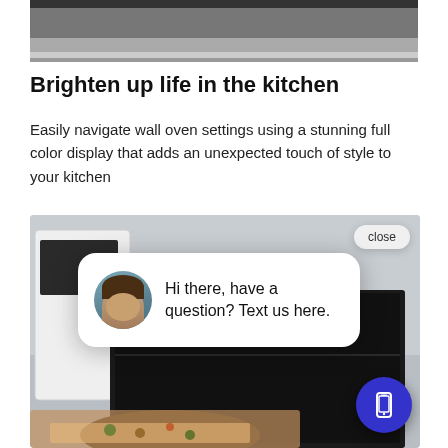[Figure (photo): Top portion of a dark wall oven with stainless steel finish, showing the top edge and door]
Brighten up life in the kitchen
Easily navigate wall oven settings using a stunning full color display that adds an unexpected touch of style to your kitchen
[Figure (screenshot): Photo of a white wall oven with dark interior and a person placing food inside. Overlaid with a chat popup reading 'Hi there, have a question? Text us here.' with a female avatar, a close button, and a blue phone FAB button in the bottom right corner.]